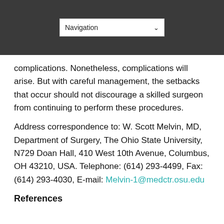[Figure (screenshot): Navigation dropdown bar with dark background]
complications. Nonetheless, complications will arise. But with careful management, the setbacks that occur should not discourage a skilled surgeon from continuing to perform these procedures.
Address correspondence to: W. Scott Melvin, MD, Department of Surgery, The Ohio State University, N729 Doan Hall, 410 West 10th Avenue, Columbus, OH 43210, USA. Telephone: (614) 293-4499, Fax: (614) 293-4030, E-mail: Melvin-1@medctr.osu.edu
References